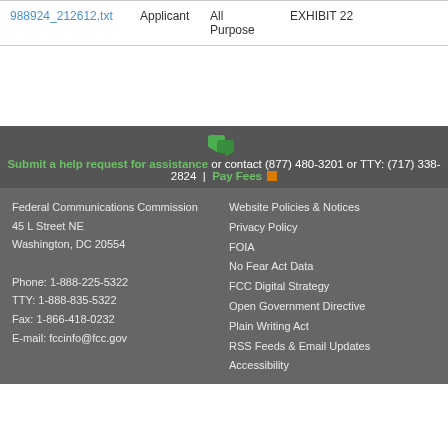|  | Applicant | All Purpose | EXHIBIT 22 |
| --- | --- | --- | --- |
| 988924_212612.txt | Applicant | All Purpose | EXHIBIT 22 |
Submit a help request for assistance or contact (877) 480-3201 or TTY: (717) 338-2824 | Pay Fees
Federal Communications Commission
45 L Street NE
Washington, DC 20554

Phone: 1-888-225-5322
TTY: 1-888-835-5322
Fax: 1-866-418-0232
E-mail: fccinfo@fcc.gov
Website Policies & Notices
Privacy Policy
FOIA
No Fear Act Data
FCC Digital Strategy
Open Government Directive
Plain Writing Act
RSS Feeds & Email Updates
Accessibility